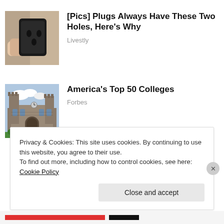[Figure (photo): Thumbnail photo of an electrical plug being held, showing two holes]
[Pics] Plugs Always Have These Two Holes, Here's Why
Livestly
[Figure (photo): Thumbnail photo of a gothic stone college building with towers and arched entrance]
America's Top 50 Colleges
Forbes
Privacy & Cookies: This site uses cookies. By continuing to use this website, you agree to their use.
To find out more, including how to control cookies, see here: Cookie Policy
Close and accept